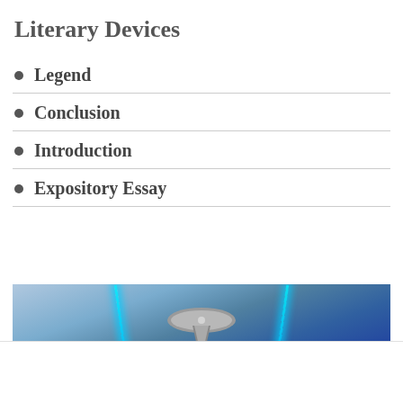Literary Devices
Legend
Conclusion
Introduction
Expository Essay
[Figure (photo): Interior ceiling photo showing blue laser/LED light beams crossing at angles over a metallic ceiling fixture in a dimly lit room, with a close button (X) at lower right.]